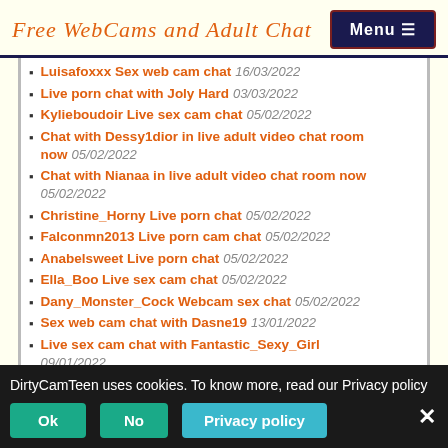Free WebCams and Adult Chat
Luisafoxxx Sex web cam chat 16/03/2022
Live porn chat with Joly Hard 03/03/2022
Kylieboudoir Live sex cam chat 05/02/2022
Chat with Dessy1dior in live adult video chat room now 05/02/2022
Chat with Nianaa in live adult video chat room now 05/02/2022
Christine_Horny Live porn chat 05/02/2022
Falconmn2013 Live porn cam chat 05/02/2022
Anabelsweet Live porn chat 05/02/2022
Ella_Boo Live sex cam chat 05/02/2022
Dany_Monster_Cock Webcam sex chat 05/02/2022
Sex web cam chat with Dasne19 13/01/2022
Live sex cam chat with Fantastic_Sexy_Girl 09/01/2022
DirtyCamTeen uses cookies. To know more, read our Privacy policy